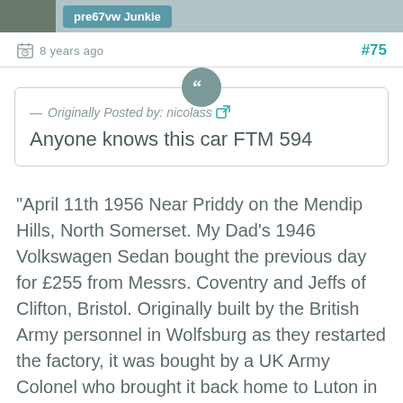pre67vw Junkie
8 years ago   #75
— Originally Posted by: nicolass
Anyone knows this car FTM 594
"April 11th 1956 Near Priddy on the Mendip Hills, North Somerset. My Dad's 1946 Volkswagen Sedan bought the previous day for £255 from Messrs. Coventry and Jeffs of Clifton, Bristol. Originally built by the British Army personnel in Wolfsburg as they restarted the factory, it was bought by a UK Army Colonel who brought it back home to Luton in Bedfordshire in September 1947 when it was first UK registered. It was Dark Blue and had